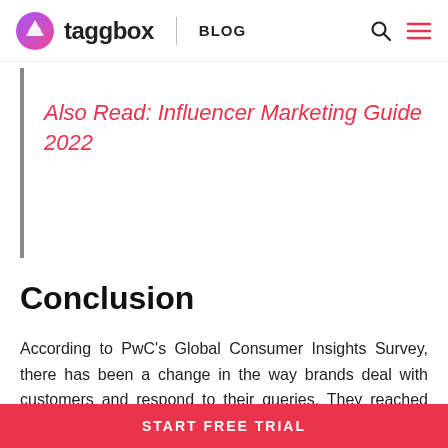taggbox BLOG
your product. In addition, influencers can quickly increase brand's sales and build customer
Also Read: Influencer Marketing Guide 2022
Conclusion
According to PwC's Global Consumer Insights Survey, there has been a change in the way brands deal with customers and respond to their queries. They reached out to 22,000 consumers in 27 territories across the
START FREE TRIAL